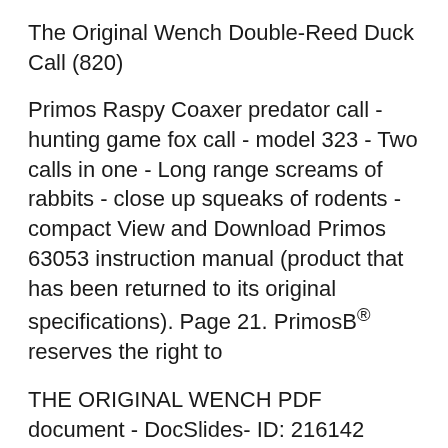The Original Wench Double-Reed Duck Call (820)
Primos Raspy Coaxer predator call - hunting game fox call - model 323 - Two calls in one - Long range screams of rabbits - close up squeaks of rodents - compact View and Download Primos 63053 instruction manual (product that has been returned to its original specifications). Page 21. PrimosB® reserves the right to
THE ORIGINAL WENCH PDF document - DocSlides- ID: 216142 Primos Timber Wench Duck-As in all WenchB® calls, the Timber WenchB® features ridges and ditches on the sounding board giving the call its raspy highs and lows and